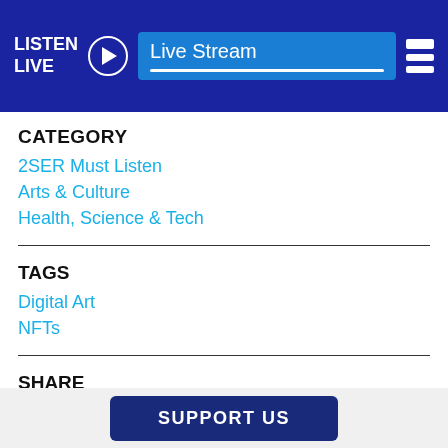LISTEN LIVE | Live Stream
CATEGORY
2SER Must Listen
Arts & Culture
Health, Science & Tech
TAGS
Digital Art
NFTs
SHARE
[Figure (illustration): Facebook share icon (blue rounded square with white 'f' logo)]
[Figure (illustration): Twitter share icon (blue rounded square with white bird logo)]
[Figure (illustration): Copy link icon (cyan chain/link symbol)]
SUPPORT US